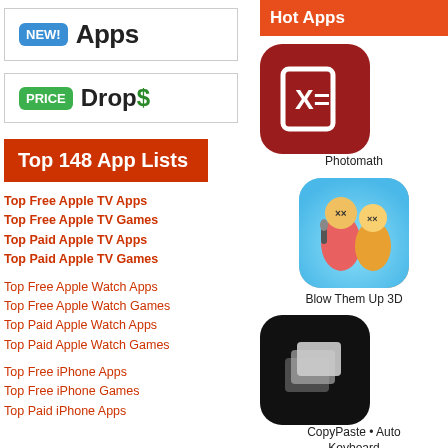[Figure (logo): NEW! Apps banner logo with blue badge and bold Apps text]
[Figure (logo): PRICE Drops banner logo with green badge and bold Drops$ text]
Top 148 App Lists
Top Free Apple TV Apps
Top Free Apple TV Games
Top Paid Apple TV Apps
Top Paid Apple TV Games
Top Free Apple Watch Apps
Top Free Apple Watch Games
Top Paid Apple Watch Apps
Top Paid Apple Watch Games
Top Free iPhone Apps
Top Free iPhone Games
Top Paid iPhone Apps
Hot Apps
[Figure (screenshot): Photomath app icon - red background with X= formula symbol]
Photomath
[Figure (screenshot): Blow Them Up 3D app icon - colorful characters with microphone]
Blow Them Up 3D
[Figure (screenshot): CopyPaste Auto Keyboard app icon - black background with layered squares]
CopyPaste • Auto Keyboard
[Figure (screenshot): Partial fourth app icon visible at bottom]